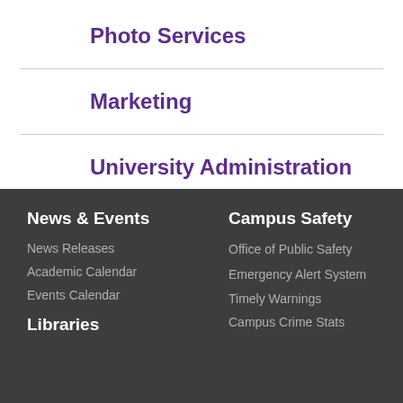Photo Services
Marketing
University Administration
News & Events
News Releases
Academic Calendar
Events Calendar
Libraries
Campus Safety
Office of Public Safety
Emergency Alert System
Timely Warnings
Campus Crime Stats